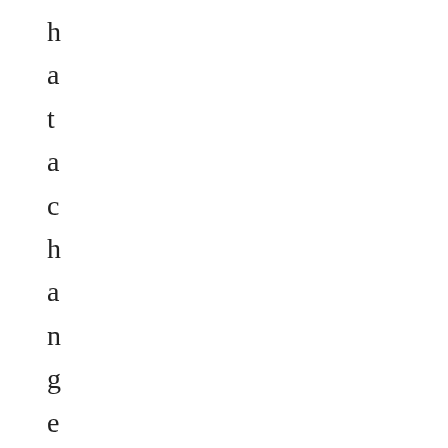h
a
t
a
c
h
a
n
g
e
i
n
c
o
n
d
i
t